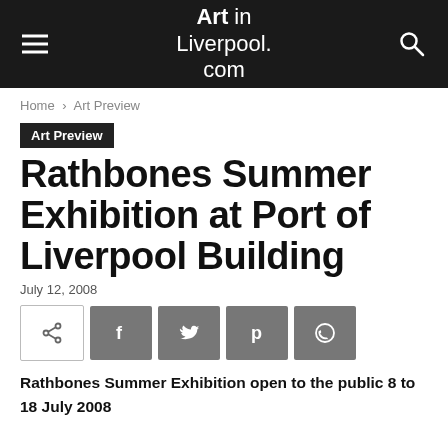Art in Liverpool.com
Home › Art Preview
Art Preview
Rathbones Summer Exhibition at Port of Liverpool Building
July 12, 2008
[Figure (other): Social share buttons row: share outline, Facebook, Twitter, Pinterest, WhatsApp]
Rathbones Summer Exhibition open to the public 8 to 18 July 2008